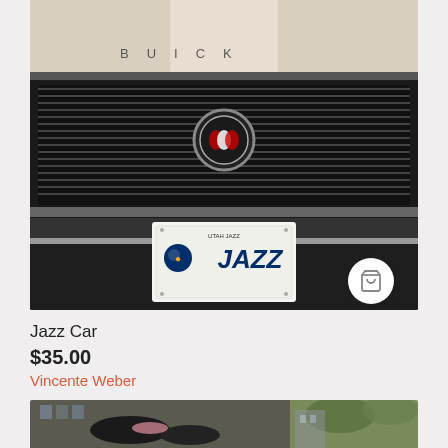[Figure (photo): Close-up photo of a classic Buick car front grille showing the chrome grille bars, Buick emblem in the center, and a Utah Jazz license plate at the bottom. The car hood is cream/beige colored. There is a shopping cart button in the lower right of the image.]
Jazz Car
$35.00
Vincente Weber
[Figure (photo): Partially visible second product photo showing a street scene with vehicles or objects with umbrellas, cut off at the bottom of the page.]